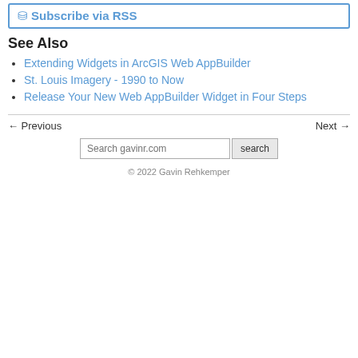Subscribe via RSS
See Also
Extending Widgets in ArcGIS Web AppBuilder
St. Louis Imagery - 1990 to Now
Release Your New Web AppBuilder Widget in Four Steps
← Previous
Next →
Search gavinr.com
© 2022 Gavin Rehkemper